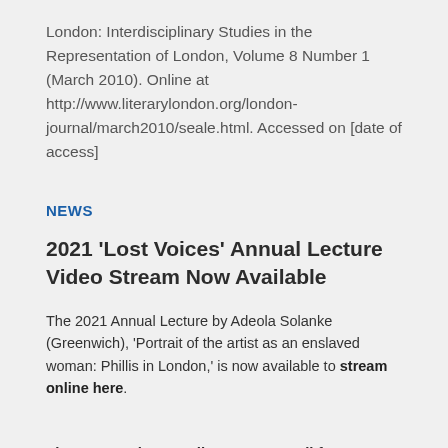London: Interdisciplinary Studies in the Representation of London, Volume 8 Number 1 (March 2010). Online at http://www.literarylondon.org/london-journal/march2010/seale.html. Accessed on [date of access]
NEWS
2021 'Lost Voices' Annual Lecture Video Stream Now Available
The 2021 Annual Lecture by Adeola Solanke (Greenwich), 'Portrait of the artist as an enslaved woman: Phillis in London,' is now available to stream online here.
Literary London Reading Group - Call for Volunteers